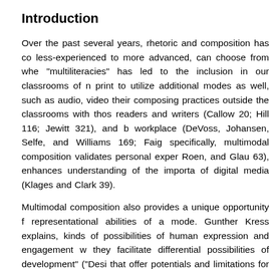Introduction
Over the past several years, rhetoric and composition has co less-experienced to more advanced, can choose from whe "multiliteracies" has led to the inclusion in our classrooms of n print to utilize additional modes as well, such as audio, video their composing practices outside the classrooms with thos readers and writers (Callow 20; Hill 116; Jewitt 321), and b workplace (DeVoss, Johansen, Selfe, and Williams 169; Faig specifically, multimodal composition validates personal exper Roen, and Glau 63), enhances understanding of the importa of digital media (Klages and Clark 39).
Multimodal composition also provides a unique opportunity f representational abilities of a mode. Gunther Kress explains, kinds of possibilities of human expression and engagement w they facilitate differential possibilities of development" ("Desi that offer potentials and limitations for communication and n sequential logic and evidence showing time and sequence accent, tone of voice, mood, or music, and video affordanc